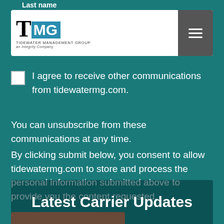Last name
[Figure (logo): TMG Tidewater Management Group logo with navigation hamburger menu button]
I agree to receive other communications from tidewatermg.com.
You can unsubscribe from these communications at any time.
By clicking submit below, you consent to allow tidewatermg.com to store and process the personal information submitted above to provide you the content requested.
Sign Up
Latest Carrier Updates